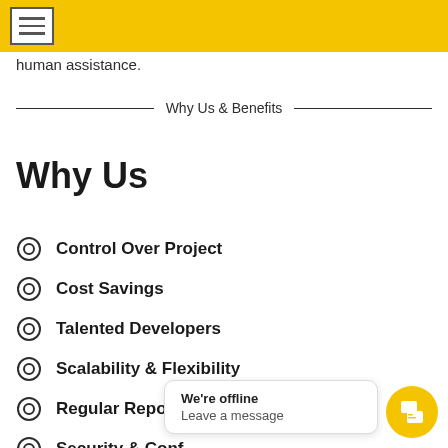[hamburger menu icon]
human assistance.
Why Us & Benefits
Why Us
Control Over Project
Cost Savings
Talented Developers
Scalability & Flexibility
Regular Reports
Security & Confidentiality